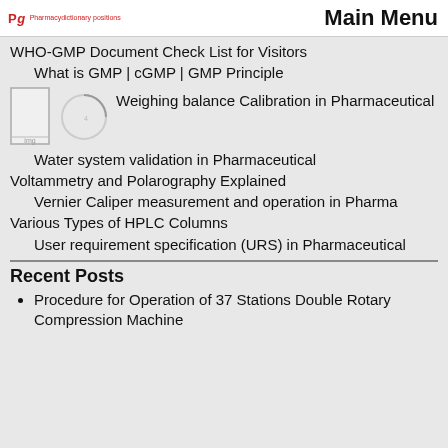Pg Pharmacydictonary positions | Main Menu
WHO-GMP Document Check List for Visitors
What is GMP | cGMP | GMP Principle
[Figure (photo): Thumbnail image of weighing balance and a loading circle indicator next to text about Weighing balance Calibration in Pharmaceutical]
Weighing balance Calibration in Pharmaceutical
Water system validation in Pharmaceutical
Voltammetry and Polarography Explained
Vernier Caliper measurement and operation in Pharma
Various Types of HPLC Columns
User requirement specification (URS) in Pharmaceutical
Recent Posts
Procedure for Operation of 37 Stations Double Rotary Compression Machine